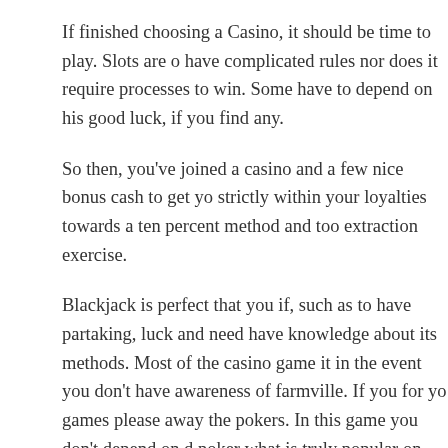If finished choosing a Casino, it should be time to play. Slots are o… have complicated rules nor does it require processes to win. Some… have to depend on his good luck, if you find any.
So then, you’ve joined a casino and a few nice bonus cash to get yo… strictly within your loyalties towards a ten percent method and too… extraction exercise.
Blackjack is perfect that you if, such as to have partaking, luck and… need have knowledge about its methods. Most of the casino game… it in the event you don’t have awareness of farmville. If you for yo… games please away the pokers. In this game you don’t depend on d… poker what is truly popular on online casino games.
Be prepared to lose. You have to never practice with Online casino… afford to lose. Its going to cloud your judgment when play for the…
Some regarding good bonus items would be those casinos that offe… You are the player gets his deposit amount “matched” with that cas… certain work day. And, another great one could be the monthly pr… the to win large stages of cash, used just for playing huge, ability…